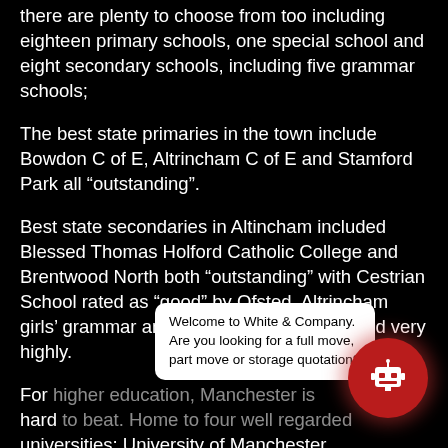there are plenty to choose from too including eighteen primary schools, one special school and eight secondary schools, including five grammar schools;
The best state primaries in the town include Bowdon C of E, Altrincham C of E and Stamford Park all “outstanding”.
Best state secondaries in Altincham included Blessed Thomas Holford Catholic College and Brentwood North both “outstanding” with Cestrian School rated as “good” by Ofsted. Altrincham girls’ grammar and boys’ grammar also rated very highly.
For higher education, Manchester is hard to beat. Home to four well regarded universities; University of Manchester, Manchester Metropolitan University, Royal